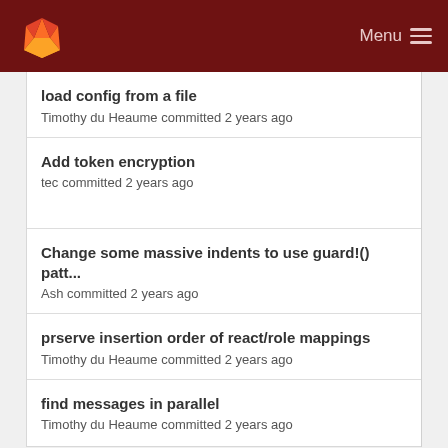Menu
load config from a file
Timothy du Heaume committed 2 years ago
Add token encryption
tec committed 2 years ago
Change some massive indents to use guard!() patt...
Ash committed 2 years ago
prserve insertion order of react/role mappings
Timothy du Heaume committed 2 years ago
find messages in parallel
Timothy du Heaume committed 2 years ago